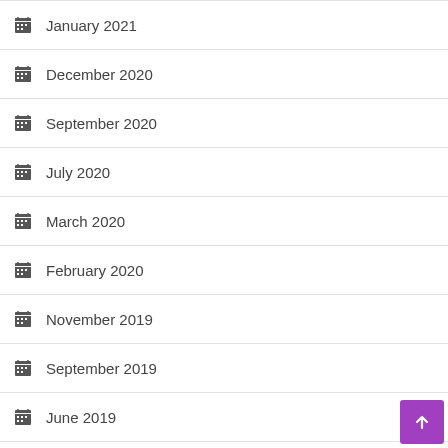January 2021
December 2020
September 2020
July 2020
March 2020
February 2020
November 2019
September 2019
June 2019
April 2019
November 2018
February 2018
July 2014